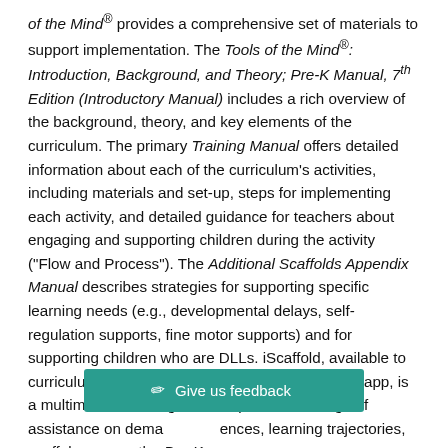of the Mind® provides a comprehensive set of materials to support implementation. The Tools of the Mind®: Introduction, Background, and Theory; Pre-K Manual, 7th Edition (Introductory Manual) includes a rich overview of the background, theory, and key elements of the curriculum. The primary Training Manual offers detailed information about each of the curriculum's activities, including materials and set-up, steps for implementing each activity, and detailed guidance for teachers about engaging and supporting children during the activity ("Flow and Process"). The Additional Scaffolds Appendix Manual describes strategies for supporting specific learning needs (e.g., developmental delays, self-regulation supports, fine motor supports) and for supporting children who are DLLs. iScaffold, available to curriculum users through the publisher website or app, is a multimedia teaching tool that provides a range of assistance on demand, learning sequences, learning trajectories, scaffolding, and the Pre-K
[Figure (other): Teal feedback button overlay reading 'Give us feedback' with pencil icon]